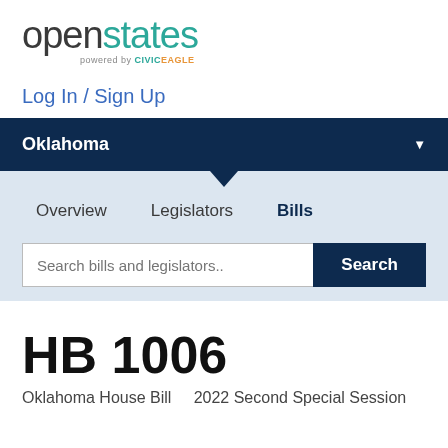openstates powered by CivicEagle
Log In / Sign Up
Oklahoma
Overview   Legislators   Bills
Search bills and legislators..   Search
HB 1006
Oklahoma House Bill   2022 Second Special Session